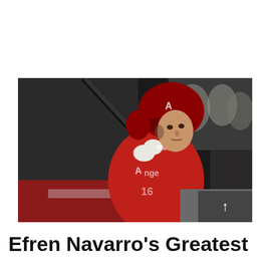[Figure (photo): Baseball player in red Los Angeles Angels uniform and red batting helmet holding a bat in batting stance at night game, fans visible in background]
Efren Navarro's Greatest